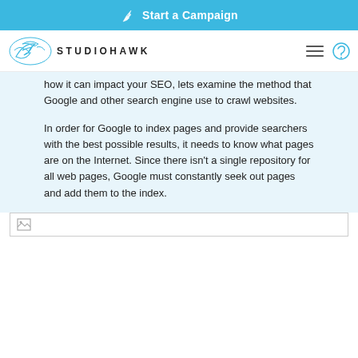Start a Campaign
[Figure (logo): Studiohawk logo with hawk illustration and navigation icons]
how it can impact your SEO, lets examine the method that Google and other search engine use to crawl websites.
In order for Google to index pages and provide searchers with the best possible results, it needs to know what pages are on the Internet. Since there isn't a single repository for all web pages, Google must constantly seek out pages and add them to the index.
[Figure (photo): Broken/loading image placeholder]